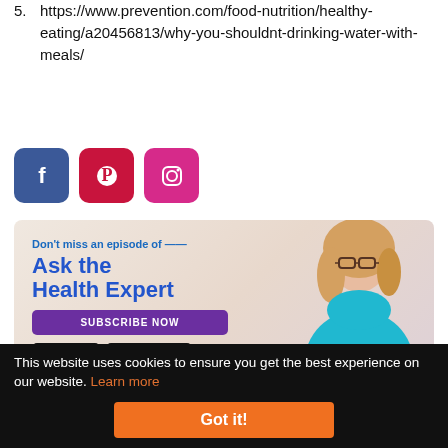5. https://www.prevention.com/food-nutrition/healthy-eating/a20456813/why-you-shouldnt-drinking-water-with-meals/
[Figure (infographic): Social media sharing buttons: Facebook (blue), Pinterest (red/crimson), Instagram (pink/magenta)]
[Figure (infographic): Promotional banner for 'Ask the Health Expert' podcast. Text: Don't miss an episode of Ask the Health Expert. Subscribe Now button. Google Play and Apple Podcasts badges. Woman with blonde hair and glasses in teal top on right side.]
This website uses cookies to ensure you get the best experience on our website. Learn more
Got it!